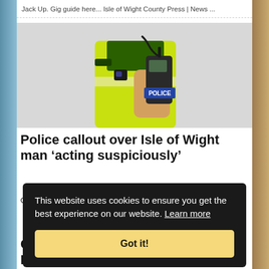Jack Up. Gig guide here... Isle of Wight County Press | News ...
[Figure (photo): A police officer in a high-visibility yellow jacket holding a two-way radio, with a POLICE badge visible on the device.]
Police callout over Isle of Wight man 'acting suspiciously'
Officers attended, spoke with residents, and conducted a s...
This website uses cookies to ensure you get the best experience on our website. Learn more
Got it!
Council warning as battery causes Isle of